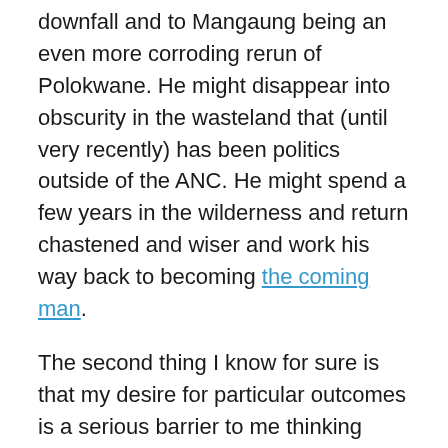downfall and to Mangaung being an even more corroding rerun of Polokwane. He might disappear into obscurity in the wasteland that (until very recently) has been politics outside of the ANC. He might spend a few years in the wilderness and return chastened and wiser and work his way back to becoming the coming man.
The second thing I know for sure is that my desire for particular outcomes is a serious barrier to me thinking sensibly about which outcomes are most likely.
I know this is not a great and profound insight – nor am I here on the road to Damascus or any particular destination; intellectual,